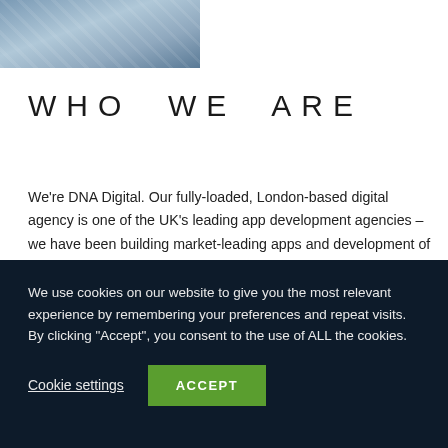[Figure (photo): Partial photo of a person, cropped at top of page]
WHO WE ARE
We're DNA Digital. Our fully-loaded, London-based digital agency is one of the UK's leading app development agencies – we have been building market-leading apps and development of websites.
We work with a broad range of large and small clients and
We use cookies on our website to give you the most relevant experience by remembering your preferences and repeat visits. By clicking "Accept", you consent to the use of ALL the cookies.
Cookie settings
ACCEPT